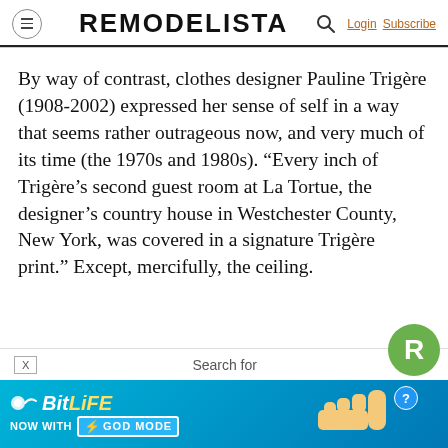REMODELISTA
By way of contrast, clothes designer Pauline Trigère (1908-2002) expressed her sense of self in a way that seems rather outrageous now, and very much of its time (the 1970s and 1980s). “Every inch of Trigère’s second guest room at La Tortue, the designer’s country house in Westchester County, New York, was covered in a signature Trigère print.” Except, mercifully, the ceiling.
[Figure (screenshot): Advertisement banner for BitLife game with 'NOW WITH GOD MODE' text on a blue background with hand graphic]